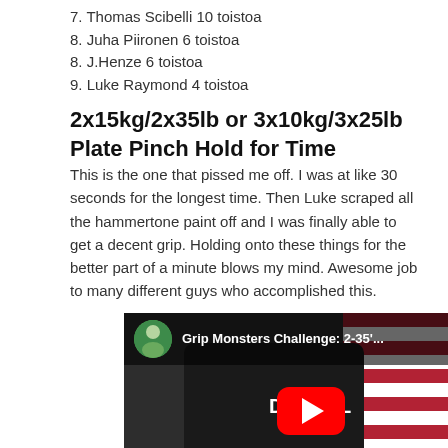7. Thomas Scibelli 10 toistoa
8. Juha Piironen 6 toistoa
8. J.Henze 6 toistoa
9. Luke Raymond 4 toistoa
2x15kg/2x35lb or 3x10kg/3x25lb Plate Pinch Hold for Time
This is the one that pissed me off. I was at like 30 seconds for the longest time. Then Luke scraped all the hammertone paint off and I was finally able to get a decent grip. Holding onto these things for the better part of a minute blows my mind. Awesome job to many different guys who accomplished this.
[Figure (screenshot): YouTube video thumbnail showing a man in a black Diesel shirt performing a grip challenge, with an American flag in the background. Video title reads 'Grip Monsters Challenge: 2-35'...' with a red play button overlay. A red scroll-to-top button appears in the bottom right corner.]